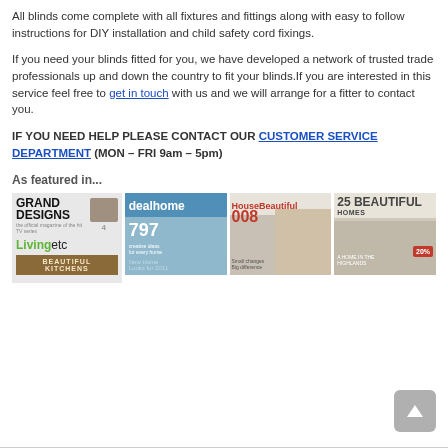All blinds come complete with all fixtures and fittings along with easy to follow instructions for DIY installation and child safety cord fixings.
If you need your blinds fitted for you, we have developed a network of trusted trade professionals up and down the country to fit your blinds.If you are interested in this service feel free to get in touch with us and we will arrange for a fitter to contact you.
IF YOU NEED HELP PLEASE CONTACT OUR CUSTOMER SERVICE DEPARTMENT (MON – FRI 9am – 5pm)
As featured in...
[Figure (photo): Magazine covers: Grand Designs, Livingetc, Beautiful Kitchens, dealhome, House Beautiful, 25 Beautiful Homes]